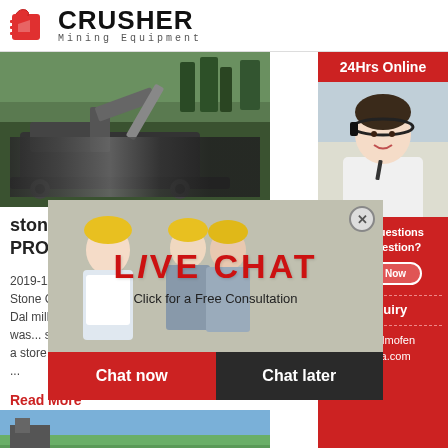[Figure (logo): Crusher Mining Equipment logo with red shopping bag icon and bold black CRUSHER text]
[Figure (photo): Mining crusher machine/excavator in outdoor setting with forest background]
stone cr... PRO Indi...
2019-12-2... Stone Crush... Crusher Plant Project Report Of India Dal mill a... 20102011 globalgiving the dal mill project was... seva mandir udaipur with the help of the farme... a store house adjacent to the plant was built in ... ...
Read More
[Figure (photo): Landscape/mountain photo partially visible at bottom]
[Figure (screenshot): Live Chat popup overlay with workers background image, LIVE CHAT title in red, Click for a Free Consultation text, Chat now and Chat later buttons]
[Figure (photo): 24Hrs Online sidebar with customer service agent woman with headset]
Need questions & suggestion?
Chat Now
Enquiry
limingjlmofen@sina.com